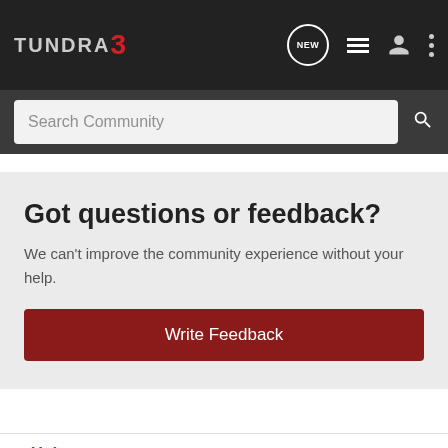TUNDRA3 — Navigation bar with NEW, list, user, and menu icons
Search Community
Got questions or feedback?
We can't improve the community experience without your help.
Write Feedback
< Help
Home   About Us   Terms of Use   Privacy Policy   Help